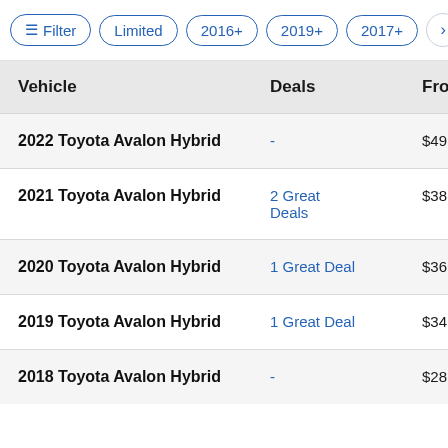Filter | Limited | 2016+ | 2019+ | 2017+ | >
| Vehicle | Deals | From | Av |
| --- | --- | --- | --- |
| 2022 Toyota Avalon Hybrid | - | $49,590 | 2 |
| 2021 Toyota Avalon Hybrid | 2 Great Deals | $38,998 | 14 lis |
| 2020 Toyota Avalon Hybrid | 1 Great Deal | $36,590 | 6 |
| 2019 Toyota Avalon Hybrid | 1 Great Deal | $34,420 | 3 |
| 2018 Toyota Avalon Hybrid | - | $28,888 | 2 |